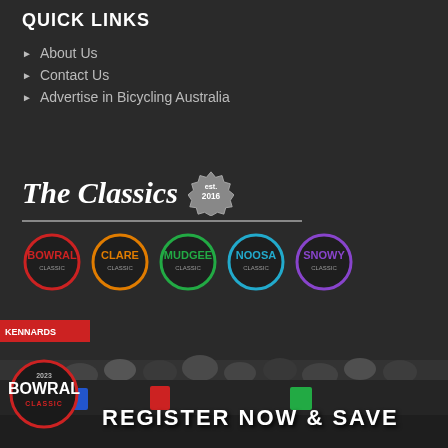QUICK LINKS
About Us
Contact Us
Advertise in Bicycling Australia
[Figure (logo): The Classics logo with 'est. 2016' badge and five event badges: BOWRAL, CLARE, MUDGEE, NOOSA, SNOWY]
FIND US ON YOUTUBE
× Close
[Figure (photo): Crowd of cyclists at the Bowral Classic event with text REGISTER NOW & SAVE overlaid]